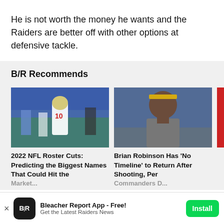He is not worth the money he wants and the Raiders are better off with other options at defensive tackle.
B/R Recommends
[Figure (photo): NFL player wearing San Francisco 49ers jersey number 10 on a football field]
[Figure (photo): Brian Robinson wearing a headband, looking forward]
2022 NFL Roster Cuts: Predicting the Biggest Names That Could Hit the Market
Brian Robinson Has 'No Timeline' to Return After Shooting, Per Commanders DC
Bleacher Report App - Free!
Get the Latest Raiders News